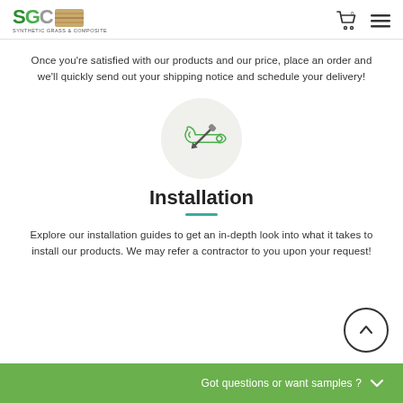SGC Synthetic Grass & Composite
Once you're satisfied with our products and our price, place an order and we'll quickly send out your shipping notice and schedule your delivery!
[Figure (illustration): Green tools/wrench and screwdriver crossed icon inside a light gray circle]
Installation
Explore our installation guides to get an in-depth look into what it takes to install our products. We may refer a contractor to you upon your request!
[Figure (illustration): Back to top arrow button, circular outline with upward chevron]
Got questions or want samples ?